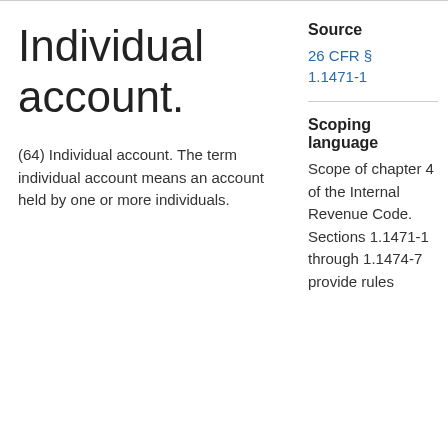Individual account.
(64) Individual account. The term individual account means an account held by one or more individuals.
Source
26 CFR § 1.1471-1
Scoping language
Scope of chapter 4 of the Internal Revenue Code. Sections 1.1471-1 through 1.1474-7 provide rules